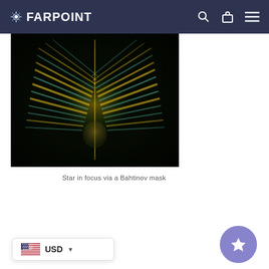FARPOINT
[Figure (photo): Star in focus via a Bahtinov mask — diffraction pattern showing golden/teal parallel bands on a black background, with a butterfly/symmetric pattern]
Star in focus via a Bahtinov mask
How it Works
USD
[Figure (other): Purple circular star/favourite button icon in bottom right corner]